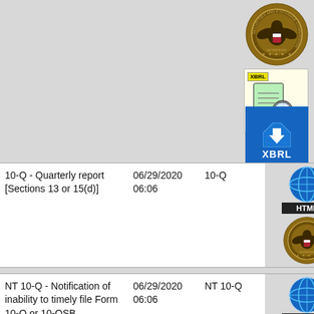[Figure (infographic): Top section with SEC seal, XBRL viewer icon (document with magnifying glass), and XBRL download icon (blue box with arrow), arranged vertically on the right side of a gray background.]
| Filing Type | Date | Type | Links |
| --- | --- | --- | --- |
| 10-Q - Quarterly report [Sections 13 or 15(d)] | 06/29/2020 06:06 | 10-Q | HTML icon, SEC seal icon |
| NT 10-Q - Notification of inability to timely file Form 10-Q or 10-QSB | 06/29/2020 06:06 | NT 10-Q | HTML icon, SEC seal icon (partial) |